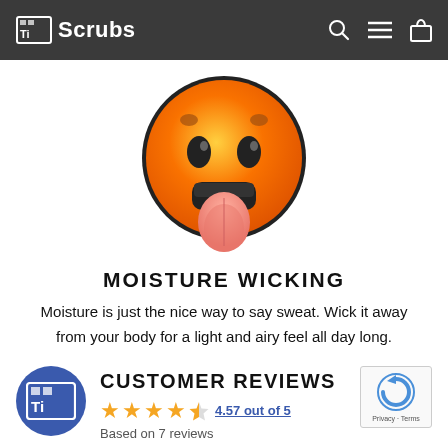Ti Scrubs
[Figure (illustration): Hot face emoji with wide open mouth, tongue out, and sweat drops on forehead — orange gradient face with black outline]
Moisture Wicking
Moisture is just the nice way to say sweat. Wick it away from your body for a light and airy feel all day long.
[Figure (logo): TiScrubs circular blue logo with Ti icon]
Customer Reviews
4.57 out of 5
Based on 7 reviews